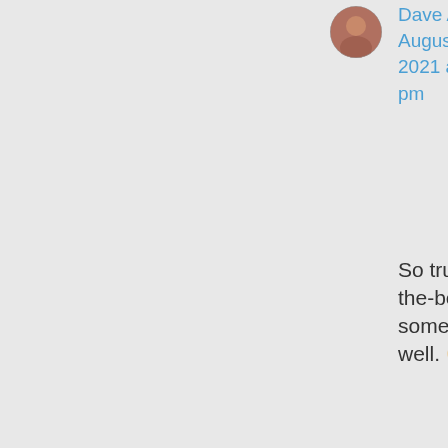[Figure (photo): Small circular avatar photo of Dave Astor, showing a man's face]
Dave Astor on August 22, 2021 at 3:09 pm
So true, Rebecca! Not-the-best-quality stuff sometimes sells quite well. 😐
And constantly learning is indeed a great